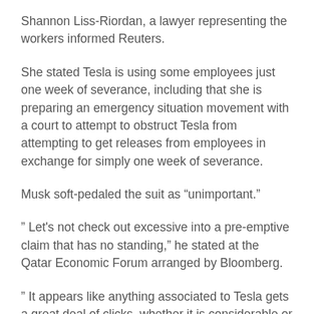Shannon Liss-Riordan, a lawyer representing the workers informed Reuters.
She stated Tesla is using some employees just one week of severance, including that she is preparing an emergency situation movement with a court to attempt to obstruct Tesla from attempting to get releases from employees in exchange for simply one week of severance.
Musk soft-pedaled the suit as “unimportant.”
" Let's not check out excessive into a pre-emptive claim that has no standing," he stated at the Qatar Economic Forum arranged by Bloomberg.
" It appears like anything associated to Tesla gets a great deal of clicks, whether it is considerable or